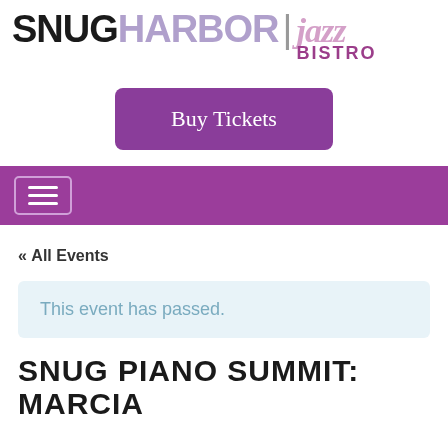[Figure (logo): Snug Harbor Jazz Bistro logo with black 'SNUG', purple 'HARBOR', divider bar, italic lavender 'jazz', and bold purple 'BISTRO']
Buy Tickets
[Figure (screenshot): Purple navigation bar with hamburger menu button (three horizontal lines in a bordered box)]
« All Events
This event has passed.
SNUG PIANO SUMMIT: MARCIA